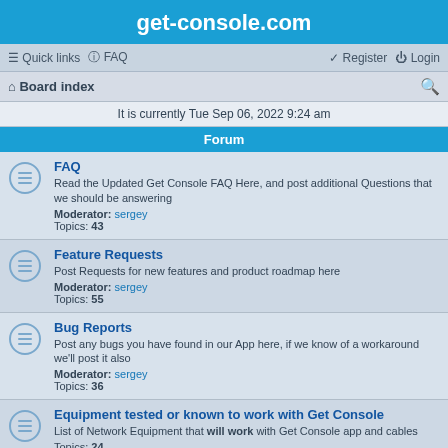get-console.com
Quick links  FAQ  Register  Login
Board index
It is currently Tue Sep 06, 2022 9:24 am
Forum
FAQ
Read the Updated Get Console FAQ Here, and post additional Questions that we should be answering
Moderator: sergey
Topics: 43
Feature Requests
Post Requests for new features and product roadmap here
Moderator: sergey
Topics: 55
Bug Reports
Post any bugs you have found in our App here, if we know of a workaround we'll post it also
Moderator: sergey
Topics: 36
Equipment tested or known to work with Get Console
List of Network Equipment that will work with Get Console app and cables
Topics: 24
NON approved equipment list
List of Equipment that will not work with Get Console app and cables
Topics: 4